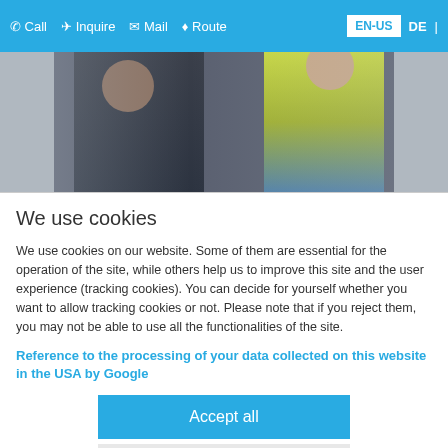Call  Inquire  Mail  Route  EN-US  DE
[Figure (photo): Two workers, one in dark jacket and one in yellow safety vest, standing outdoors]
We use cookies
We use cookies on our website. Some of them are essential for the operation of the site, while others help us to improve this site and the user experience (tracking cookies). You can decide for yourself whether you want to allow tracking cookies or not. Please note that if you reject them, you may not be able to use all the functionalities of the site.
Reference to the processing of your data collected on this website in the USA by Google
Accept all
Adjust
More information | Imprint